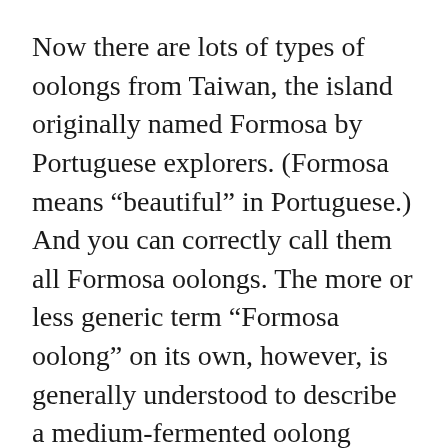Now there are lots of types of oolongs from Taiwan, the island originally named Formosa by Portuguese explorers. (Formosa means “beautiful” in Portuguese.) And you can correctly call them all Formosa oolongs. The more or less generic term “Formosa oolong” on its own, however, is generally understood to describe a medium-fermented oolong comprising brownish broken leaves and stems, and a taste profile that is peachy or nutty or both.
When I prepare oolongs for general drinking, I use a procedure I refer to as “modified gong-fu style,” where I combine serial steepings